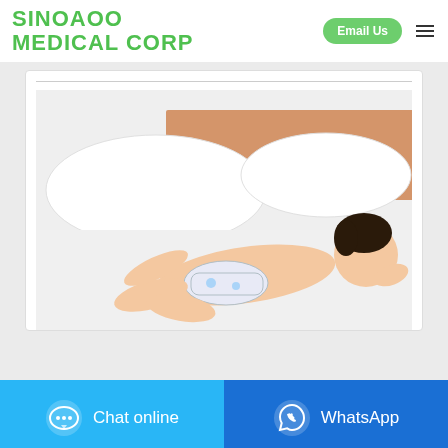SINOAOO MEDICAL CORP
[Figure (photo): Baby/infant lying face-down on a white bed wearing a white diaper, with white pillows and a wooden headboard in the background. Product photo for baby diapers.]
Chat online | WhatsApp